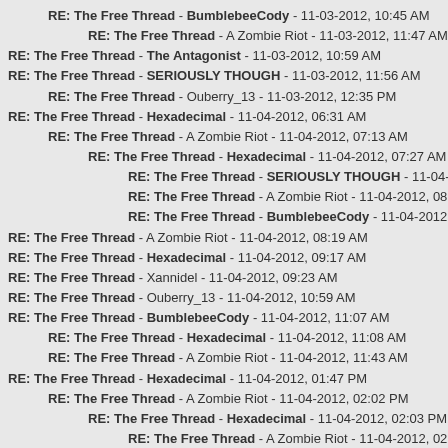RE: The Free Thread - BumblebeeCody - 11-03-2012, 10:45 AM
RE: The Free Thread - A Zombie Riot - 11-03-2012, 11:47 AM
RE: The Free Thread - The Antagonist - 11-03-2012, 10:59 AM
RE: The Free Thread - SERIOUSLY THOUGH - 11-03-2012, 11:56 AM
RE: The Free Thread - Ouberry_13 - 11-03-2012, 12:35 PM
RE: The Free Thread - Hexadecimal - 11-04-2012, 06:31 AM
RE: The Free Thread - A Zombie Riot - 11-04-2012, 07:13 AM
RE: The Free Thread - Hexadecimal - 11-04-2012, 07:27 AM
RE: The Free Thread - SERIOUSLY THOUGH - 11-04-2012, 07:28 AM
RE: The Free Thread - A Zombie Riot - 11-04-2012, 08:05 AM
RE: The Free Thread - BumblebeeCody - 11-04-2012, 08:09 AM
RE: The Free Thread - A Zombie Riot - 11-04-2012, 08:19 AM
RE: The Free Thread - Hexadecimal - 11-04-2012, 09:17 AM
RE: The Free Thread - Xannidel - 11-04-2012, 09:23 AM
RE: The Free Thread - Ouberry_13 - 11-04-2012, 10:59 AM
RE: The Free Thread - BumblebeeCody - 11-04-2012, 11:07 AM
RE: The Free Thread - Hexadecimal - 11-04-2012, 11:08 AM
RE: The Free Thread - A Zombie Riot - 11-04-2012, 11:43 AM
RE: The Free Thread - Hexadecimal - 11-04-2012, 01:47 PM
RE: The Free Thread - A Zombie Riot - 11-04-2012, 02:02 PM
RE: The Free Thread - Hexadecimal - 11-04-2012, 02:03 PM
RE: The Free Thread - A Zombie Riot - 11-04-2012, 02:07 PM
RE: The Free Thread - A Zombie Riot - 11-05-2012, 04:33 AM
RE: The Free Thread - SERIOUSLY THOUGH - 11-05-2012, 05:02 AM
RE: The Free Thread - BumblebeeCody - 11-05-2012, 06:18 AM